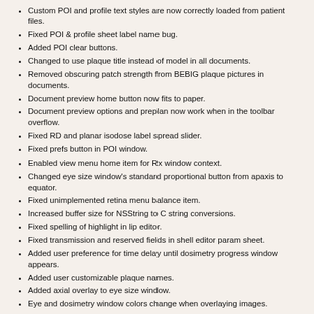Custom POI and profile text styles are now correctly loaded from patient files.
Fixed POI & profile sheet label name bug.
Added POI clear buttons.
Changed to use plaque title instead of model in all documents.
Removed obscuring patch strength from BEBIG plaque pictures in documents.
Document preview home button now fits to paper.
Document preview options and preplan now work when in the toolbar overflow.
Fixed RD and planar isodose label spread slider.
Fixed prefs button in POI window.
Enabled view menu home item for Rx window context.
Changed eye size window's standard proportional button from apaxis to equator.
Fixed unimplemented retina menu balance item.
Increased buffer size for NSString to C string conversions.
Fixed spelling of highlight in lip editor.
Fixed transmission and reserved fields in shell editor param sheet.
Added user preference for time delay until dosimetry progress window appears.
Added user customizable plaque names.
Added axial overlay to eye size window.
Eye and dosimetry window colors change when overlaying images.
Added 3D translucency settings to .iplan files.
Fixed bug in shell collimation ray trace for EP plaques.
Fixed bug where eye size remained locked after 3D dose calculation.
Eliminated redundant functions from Plaque Menu.
Eliminated redundant functions from Setup Menu.
Eliminated redundant functions from Rx Menu.